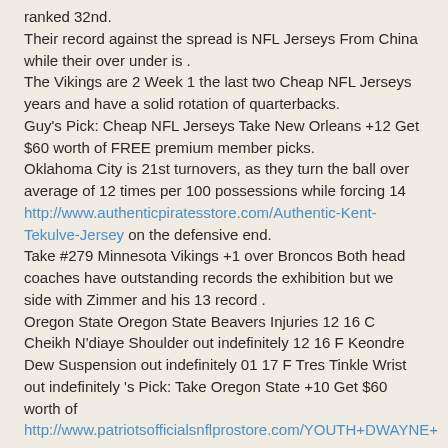ranked 32nd. Their record against the spread is NFL Jerseys From China while their over under is . The Vikings are 2 Week 1 the last two Cheap NFL Jerseys years and have a solid rotation of quarterbacks. Guy's Pick: Cheap NFL Jerseys Take New Orleans +12 Get $60 worth of FREE premium member picks. Oklahoma City is 21st turnovers, as they turn the ball over average of 12 times per 100 possessions while forcing 14 http://www.authenticpiratesstore.com/Authentic-Kent-Tekulve-Jersey on the defensive end. Take #279 Minnesota Vikings +1 over Broncos Both head coaches have outstanding records the exhibition but we side with Zimmer and his 13 record . Oregon State Oregon State Beavers Injuries 12 16 C Cheikh N'diaye Shoulder out indefinitely 12 16 F Keondre Dew Suspension out indefinitely 01 17 F Tres Tinkle Wrist out indefinitely 's Pick: Take Oregon State +10 Get $60 worth of http://www.patriotsofficialsnflprostore.com/YOUTH+DWAYNE+